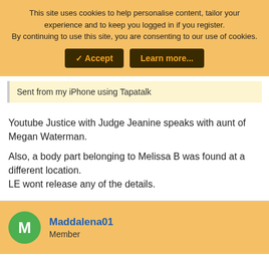This site uses cookies to help personalise content, tailor your experience and to keep you logged in if you register.
By continuing to use this site, you are consenting to our use of cookies.
✓ Accept | Learn more...
Sent from my iPhone using Tapatalk
Youtube Justice with Judge Jeanine speaks with aunt of Megan Waterman.

Also, a body part belonging to Melissa B was found at a different location.
LE wont release any of the details.
Maddalena01
Member